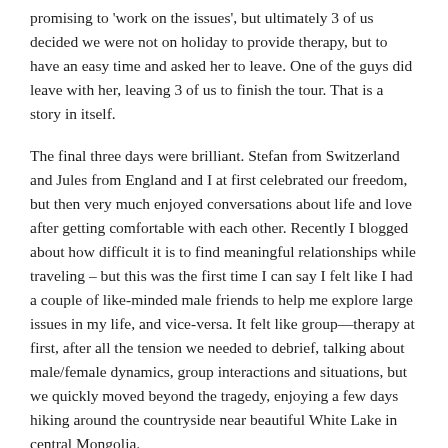promising to 'work on the issues', but ultimately 3 of us decided we were not on holiday to provide therapy, but to have an easy time and asked her to leave. One of the guys did leave with her, leaving 3 of us to finish the tour. That is a story in itself.
The final three days were brilliant. Stefan from Switzerland and Jules from England and I at first celebrated our freedom, but then very much enjoyed conversations about life and love after getting comfortable with each other. Recently I blogged about how difficult it is to find meaningful relationships while traveling – but this was the first time I can say I felt like I had a couple of like-minded male friends to help me explore large issues in my life, and vice-versa. It felt like group—therapy at first, after all the tension we needed to debrief, talking about male/female dynamics, group interactions and situations, but we quickly moved beyond the tragedy, enjoying a few days hiking around the countryside near beautiful White Lake in central Mongolia.
A felt pressure to leave Mongolia a little earlier than I would have